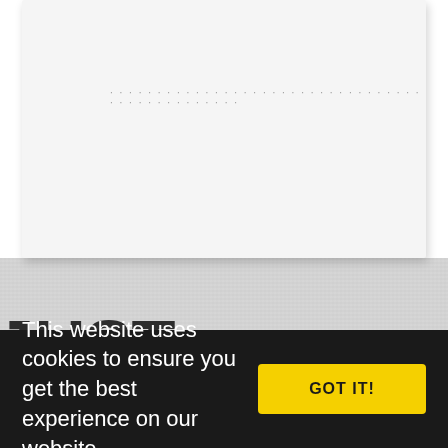[Figure (other): White card/paper element with a dotted line row near the top, casting a shadow on a light grey textured background. Represents a website UI card component.]
JUST ANNOUNCED
This website uses cookies to ensure you get the best experience on our website.
GOT IT!